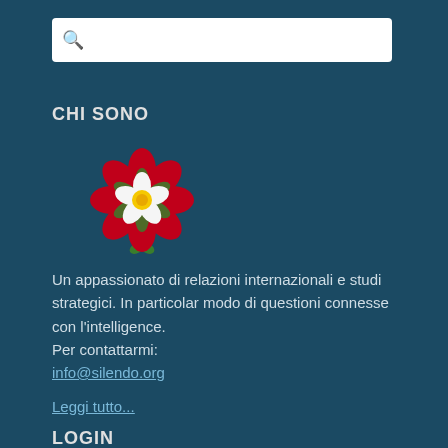[Figure (other): Search box with magnifying glass icon]
CHI SONO
[Figure (illustration): Tudor rose emoji — red and white heraldic rose flower icon]
Un appassionato di relazioni internazionali e studi strategici. In particolar modo di questioni connesse con l'intelligence.
Per contattarmi:
info@silendo.org
Leggi tutto...
LOGIN